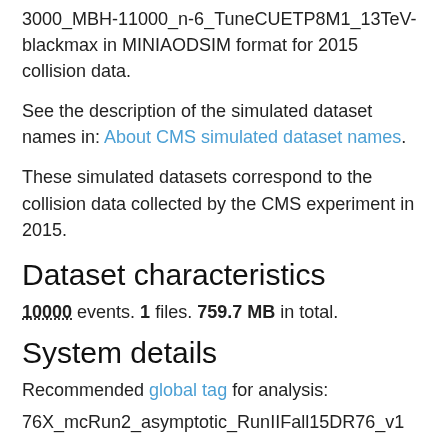3000_MBH-11000_n-6_TuneCUETP8M1_13TeV-blackmax in MINIAODSIM format for 2015 collision data.
See the description of the simulated dataset names in: About CMS simulated dataset names.
These simulated datasets correspond to the collision data collected by the CMS experiment in 2015.
Dataset characteristics
10000 events. 1 files. 759.7 MB in total.
System details
Recommended global tag for analysis:
76X_mcRun2_asymptotic_RunIIFall15DR76_v1